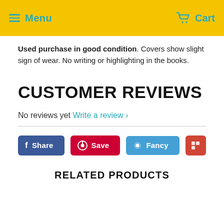Menu   Cart
Used purchase in good condition. Covers show slight sign of wear. No writing or highlighting in the books.
CUSTOMER REVIEWS
No reviews yet Write a review ›
[Figure (other): Social sharing buttons: Share (Facebook, blue), Save (Pinterest, red), Fancy (light blue), and an additional red share button]
RELATED PRODUCTS